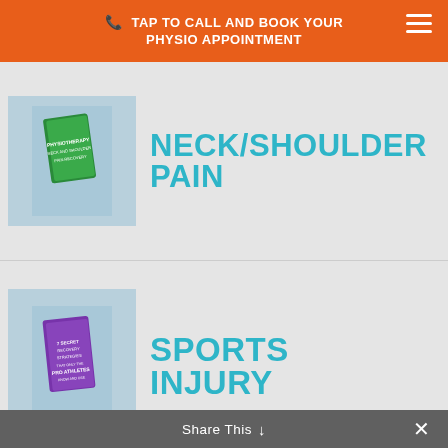TAP TO CALL AND BOOK YOUR PHYSIO APPOINTMENT
[Figure (photo): Book image for Neck/Shoulder Pain category - green book cover]
NECK/SHOULDER PAIN
[Figure (photo): Book image for Sports Injury category - purple book cover with 'Pro Athletes' text]
SPORTS INJURY
Recent Posts
Benefits Of Exercise For Elderly People Who Want To Keep Active
How To Cure Neck Pain Fast
Share This